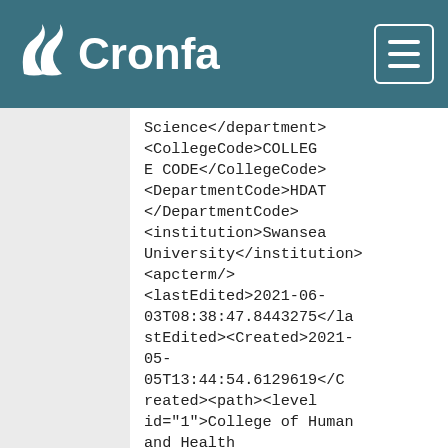Cronfa
Science</department><CollegeCode>COLLEGE CODE</CollegeCode><DepartmentCode>HDAT</DepartmentCode><institution>Swansea University</institution><apcterm/><lastEdited>2021-06-03T08:38:47.8443275</lastEdited><Created>2021-05-05T13:44:54.6129619</Created><path><level id="1">College of Human and Health Sciences</level><level id="2">Psychology</level></path><authors>